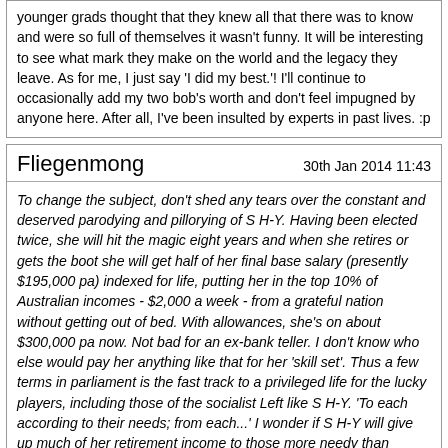younger grads thought that they knew all that there was to know and were so full of themselves it wasn't funny. It will be interesting to see what mark they make on the world and the legacy they leave. As for me, I just say 'I did my best.'! I'll continue to occasionally add my two bob's worth and don't feel impugned by anyone here. After all, I've been insulted by experts in past lives. :p
Fliegenmong   30th Jan 2014 11:43
To change the subject, don't shed any tears over the constant and deserved parodying and pillorying of S H-Y. Having been elected twice, she will hit the magic eight years and when she retires or gets the boot she will get half of her final base salary (presently $195,000 pa) indexed for life, putting her in the top 10% of Australian incomes - $2,000 a week - from a grateful nation without getting out of bed. With allowances, she's on about $300,000 pa now. Not bad for an ex-bank teller. I don't know who else would pay her anything like that for her 'skill set'. Thus a few terms in parliament is the fast track to a privileged life for the lucky players, including those of the socialist Left like S H-Y. 'To each according to their needs; from each...' I wonder if S H-Y will give up much of her retirement income to those more needy than herself?
' I wonder if S H-Y will give up much of her retirement income to those more needy than herself?[/l]"
I don't expect anyone of the leaches would RJ....the 'skill set' is woeful on both sides, without the addition of oxygen (and cash!) thieves such as SHJ, Krudd, Or downer/ howard / costelllo / abbott / abetz / mirabella......ok I'll stop!